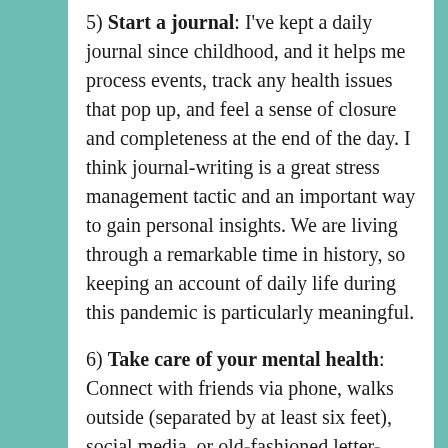5) Start a journal: I've kept a daily journal since childhood, and it helps me process events, track any health issues that pop up, and feel a sense of closure and completeness at the end of the day. I think journal-writing is a great stress management tactic and an important way to gain personal insights. We are living through a remarkable time in history, so keeping an account of daily life during this pandemic is particularly meaningful.
6) Take care of your mental health: Connect with friends via phone, walks outside (separated by at least six feet), social media, or old-fashioned letter-writing.  Find a good "escape" book to read. And have fun being at home! Here are some favorite homebound activities: design a photo album online (I like...